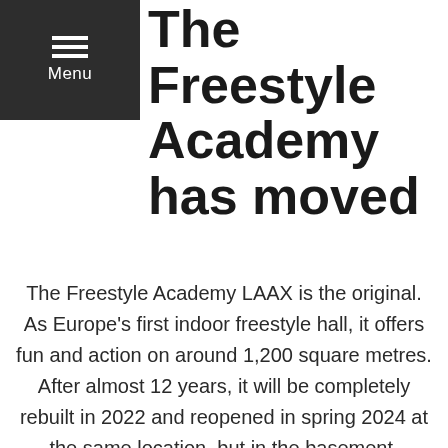Menu
The Freestyle Academy has moved
The Freestyle Academy LAAX is the original. As Europe's first indoor freestyle hall, it offers fun and action on around 1,200 square metres. After almost 12 years, it will be completely rebuilt in 2022 and reopened in spring 2024 at the same location, but in the basement. However, until then, there will be no need for anyone to miss out on indoor freestyle: At the Prau la Selva sports centre in Flims, all the popular freestyle facilities, from the Vert Ramp to the Airbag, can be